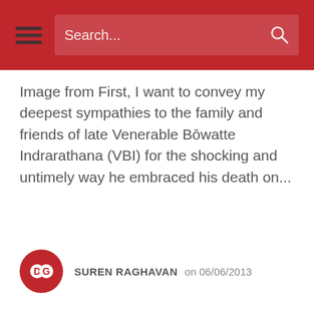Search...
Image from First, I want to convey my deepest sympathies to the family and friends of late Venerable Bōwatte Indrarathana (VBI) for the shocking and untimely way he embraced his death on...
SUREN RAGHAVAN  on 06/06/2013